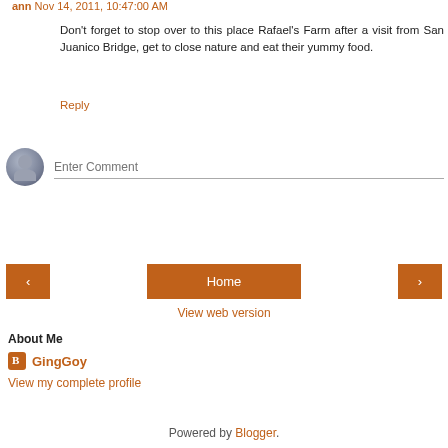ann Nov 14, 2011, 10:47:00 AM
Don't forget to stop over to this place Rafael's Farm after a visit from San Juanico Bridge, get to close nature and eat their yummy food.
Reply
[Figure (illustration): Comment input area with avatar icon and 'Enter Comment' placeholder text field]
[Figure (infographic): Navigation buttons: left arrow, Home button, right arrow]
View web version
About Me
GingGoy
View my complete profile
Powered by Blogger.